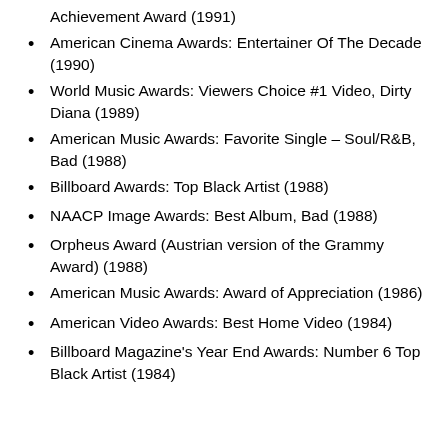Achievement Award (1991)
American Cinema Awards: Entertainer Of The Decade (1990)
World Music Awards: Viewers Choice #1 Video, Dirty Diana (1989)
American Music Awards: Favorite Single – Soul/R&B, Bad (1988)
Billboard Awards: Top Black Artist (1988)
NAACP Image Awards: Best Album, Bad (1988)
Orpheus Award (Austrian version of the Grammy Award) (1988)
American Music Awards: Award of Appreciation (1986)
American Video Awards: Best Home Video (1984)
Billboard Magazine's Year End Awards: Number 6 Top Black Artist (1984)